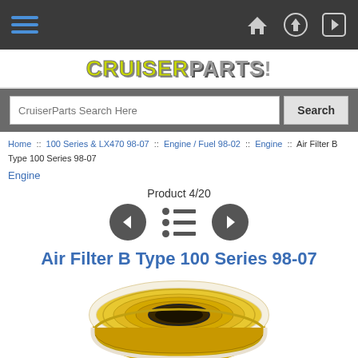CruiserParts navigation bar with hamburger menu and icons
[Figure (logo): CruiserParts logo with stylized text]
CruiserParts Search Here [Search]
Home :: 100 Series & LX470 98-07 :: Engine / Fuel 98-02 :: Engine :: Air Filter B Type 100 Series 98-07
Engine
Product 4/20
Air Filter B Type 100 Series 98-07
[Figure (photo): Circular yellow and white air filter element, viewed from above at slight angle]